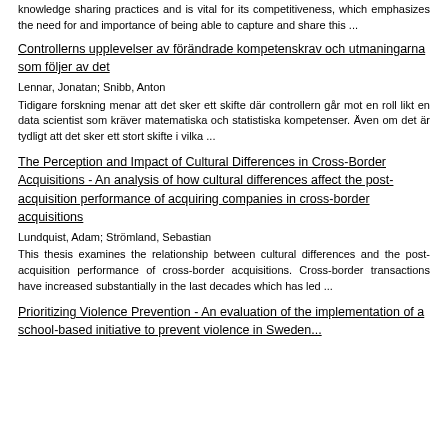knowledge sharing practices and is vital for its competitiveness, which emphasizes the need for and importance of being able to capture and share this ...
Controllerns upplevelser av förändrade kompetenskrav och utmaningarna som följer av det
Lennar, Jonatan; Snibb, Anton
Tidigare forskning menar att det sker ett skifte där controllern går mot en roll likt en data scientist som kräver matematiska och statistiska kompetenser. Även om det är tydligt att det sker ett stort skifte i vilka ...
The Perception and Impact of Cultural Differences in Cross-Border Acquisitions - An analysis of how cultural differences affect the post-acquisition performance of acquiring companies in cross-border acquisitions
Lundquist, Adam; Strömland, Sebastian
This thesis examines the relationship between cultural differences and the post-acquisition performance of cross-border acquisitions. Cross-border transactions have increased substantially in the last decades which has led ...
Prioritizing Violence Prevention - An evaluation of the implementation of a school-based initiative to prevent violence in Sweden...